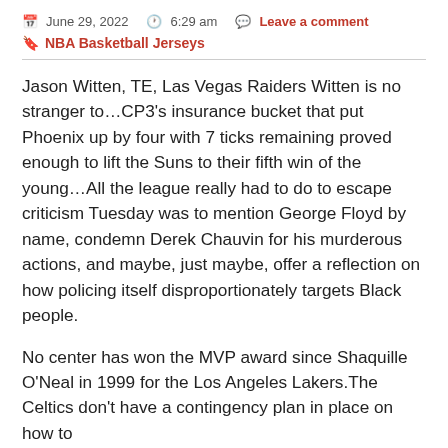June 29, 2022  6:29 am  Leave a comment
NBA Basketball Jerseys
Jason Witten, TE, Las Vegas Raiders Witten is no stranger to…CP3's insurance bucket that put Phoenix up by four with 7 ticks remaining proved enough to lift the Suns to their fifth win of the young…All the league really had to do to escape criticism Tuesday was to mention George Floyd by name, condemn Derek Chauvin for his murderous actions, and maybe, just maybe, offer a reflection on how policing itself disproportionately targets Black people.
No center has won the MVP award since Shaquille O'Neal in 1999 for the Los Angeles Lakers.The Celtics don't have a contingency plan in place on how to